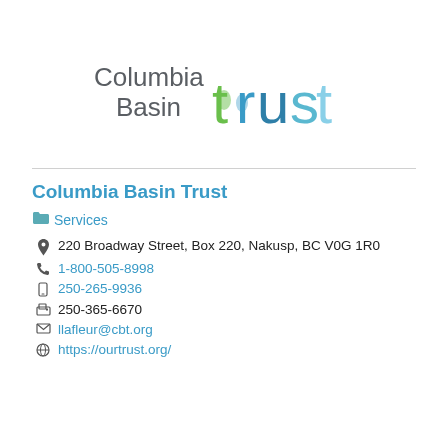[Figure (logo): Columbia Basin Trust logo — 'Columbia Basin' in grey sans-serif and 'trust' in large colorful letters (green, teal, blue)]
Columbia Basin Trust
Services
220 Broadway Street, Box 220, Nakusp, BC V0G 1R0
1-800-505-8998
250-265-9936
250-365-6670
llafleur@cbt.org
https://ourtrust.org/